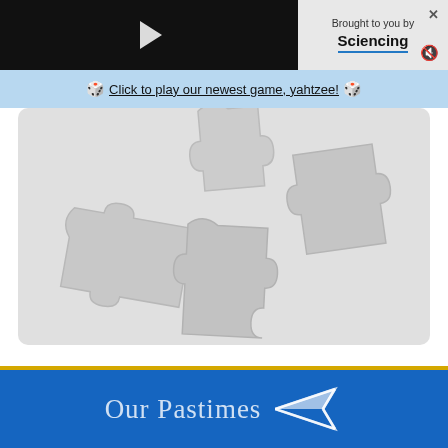[Figure (screenshot): Video player area with black background and a play button triangle in the center]
Brought to you by Sciencing
Click to play our newest game, yahtzee!
[Figure (illustration): Puzzle pieces scattered on a light gray background inside a rounded rectangle]
WRITER BIO    RELATED ARTICLES
Our Pastimes